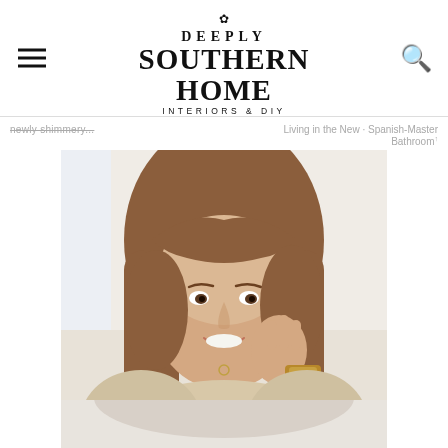Deeply Southern Home — Interiors & DIY
newly shimmery... | Living in the New Spanish-Master Bathroom
[Figure (photo): Portrait photo of a smiling woman with long brown hair wearing a beige/cream knit top and a tortoiseshell bracelet, posed with hand near her cheek, in a bright home interior setting]